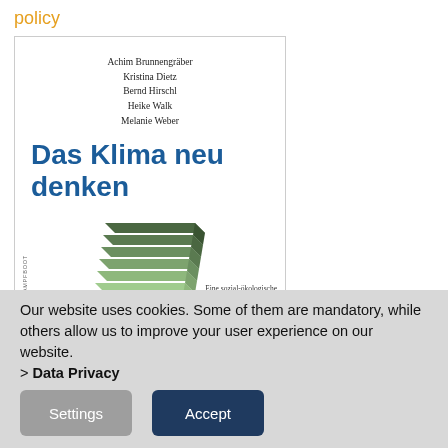policy
[Figure (illustration): Book cover of 'Das Klima neu denken' by Achim Brunnengräber, Kristina Dietz, Bernd Hirschl, Heike Walk, Melanie Weber. Features stacked layered shape illustration in greens on white background. Subtitle: 'Eine sozial-ökologische Perspektive auf die lokale, nationale'. Published by Dampfboot.]
Our website uses cookies. Some of them are mandatory, while others allow us to improve your user experience on our website.
> Data Privacy
Settings
Accept